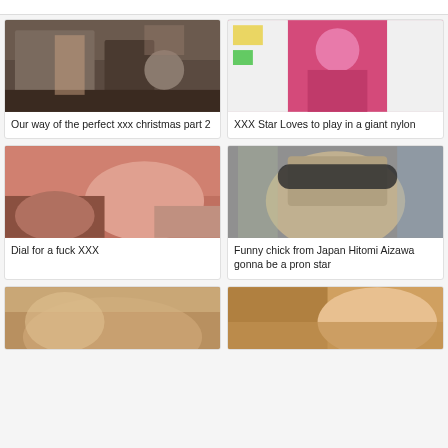[Figure (screenshot): Top bar strip at the very top of the page]
[Figure (photo): Group of people near fireplace - christmas scene]
Our way of the perfect xxx christmas part 2
[Figure (photo): Person in pink nylon bodysuit]
XXX Star Loves to play in a giant nylon
[Figure (photo): Woman lying on bed - close up]
Dial for a fuck XXX
[Figure (photo): Woman with sunglasses close up]
Funny chick from Japan Hitomi Aizawa gonna be a pron star
[Figure (photo): Redhead woman in bathtub - partially visible]
[Figure (photo): Blonde woman - partially visible]